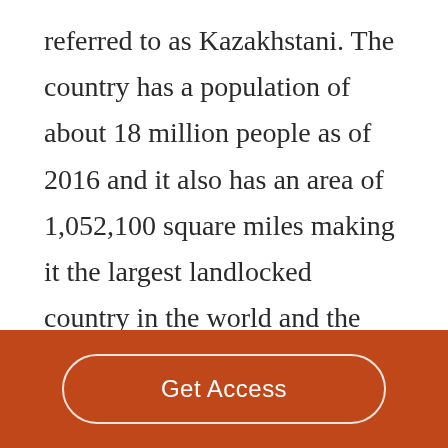referred to as Kazakhstani. The country has a population of about 18 million people as of 2016 and it also has an area of 1,052,100 square miles making it the largest landlocked country in the world and the ninth largest country in the world. The capital of the country is Astana and the most populous city is Almaty. The country's national language is Kazakh but they also recognize Russian as an official language of the country. The country's ethnic groups are largely Kazakh
[Figure (other): Orange footer bar with a 'Get Access' button in white rounded rectangle outline]